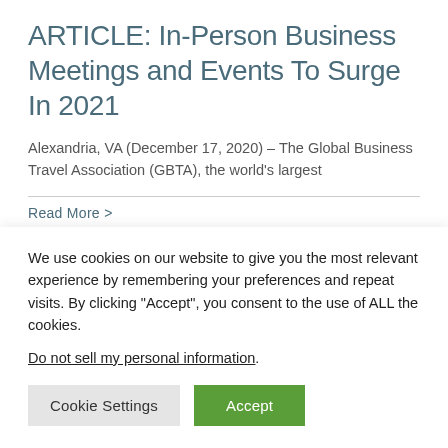ARTICLE: In-Person Business Meetings and Events To Surge In 2021
Alexandria, VA (December 17, 2020) – The Global Business Travel Association (GBTA), the world's largest
Read More >
BLOG: Women in Travel: Companies
We use cookies on our website to give you the most relevant experience by remembering your preferences and repeat visits. By clicking "Accept", you consent to the use of ALL the cookies.
Do not sell my personal information.
Cookie Settings | Accept